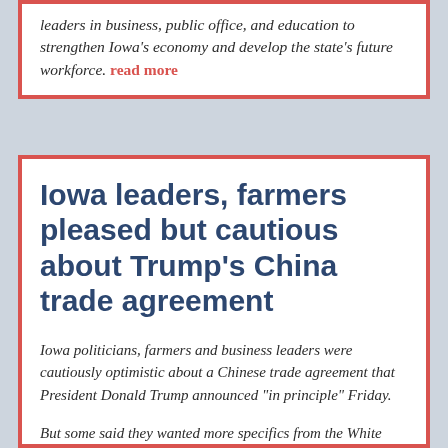leaders in business, public office, and education to strengthen Iowa's economy and develop the state's future workforce. read more
Iowa leaders, farmers pleased but cautious about Trump's China trade agreement
Iowa politicians, farmers and business leaders were cautiously optimistic about a Chinese trade agreement that President Donald Trump announced "in principle" Friday.
But some said they wanted more specifics from the White House, citing other times over the past year when expected relief from trade tensions